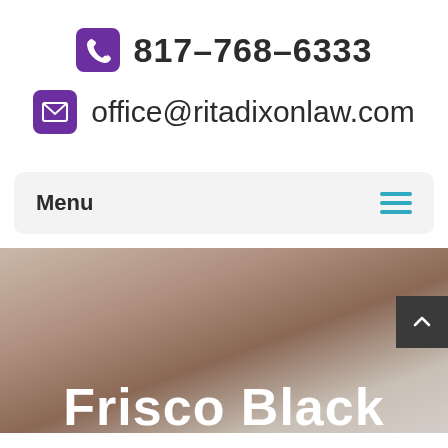817-768-6333
office@ritadixonlaw.com
Menu
[Figure (photo): Close-up blurred photo of a person, background image for law firm website hero section]
Frisco Black